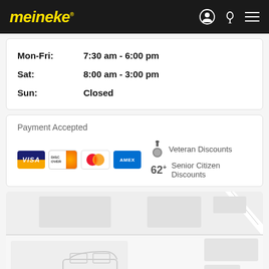meineke
| Day | Hours |
| --- | --- |
| Mon-Fri: | 7:30 am - 6:00 pm |
| Sat: | 8:00 am - 3:00 pm |
| Sun: | Closed |
Payment Accepted
Veteran Discounts, Senior Citizen Discounts. Accepted cards: Visa, Discover, Mastercard, American Express
[Figure (map): Street map showing location vicinity]